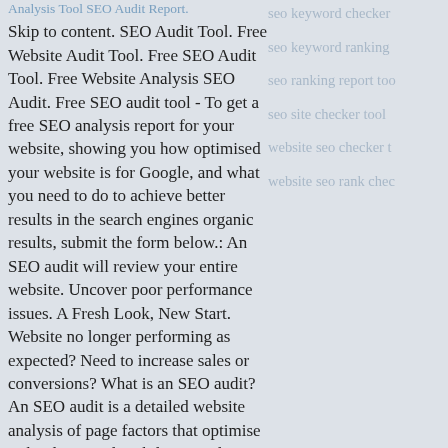Analysis Tool SEO Audit Report.
Skip to content. SEO Audit Tool. Free Website Audit Tool. Free SEO Audit Tool. Free Website Analysis SEO Audit. Free SEO audit tool - To get a free SEO analysis report for your website, showing you how optimised your website is for Google, and what you need to do to achieve better results in the search engines organic results, submit the form below.: An SEO audit will review your entire website. Uncover poor performance issues. A Fresh Look, New Start. Website no longer performing as expected? Need to increase sales or conversions? What is an SEO audit? An SEO audit is a detailed website analysis of page factors that optimise or hinder Googles ability to index properly for page ranking. If your site is unable to be accurately understood and indexed by Google, individual site content will not
seo keyword checker
seo keyword ranking
seo ranking report too
seo site checker tool
website seo checker t
website seo rank chec